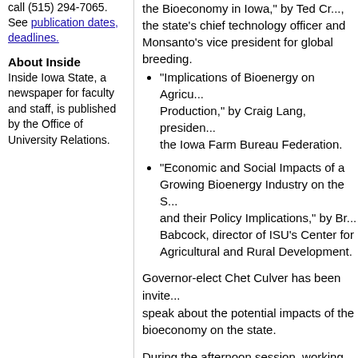call (515) 294-7065. See publication dates, deadlines.
About Inside
Inside Iowa State, a newspaper for faculty and staff, is published by the Office of University Relations.
"Opportunities and Challenges for the Bioeconomy in Iowa," by Ted Cr..., the state's chief technology officer and Monsanto's vice president for global breeding.
"Implications of Bioenergy on Agricultural Production," by Craig Lang, president of the Iowa Farm Bureau Federation.
"Economic and Social Impacts of a Growing Bioenergy Industry on the S... and their Policy Implications," by Br... Babcock, director of ISU's Center for Agricultural and Rural Development.
Governor-elect Chet Culver has been invited to speak about the potential impacts of the bioeconomy on the state.
During the afternoon session, working groups discuss topics such as biomass production, biorefineries, infrastructure and transportation, sustainability, the economic and social impacts on communities, consumer acceptance, and